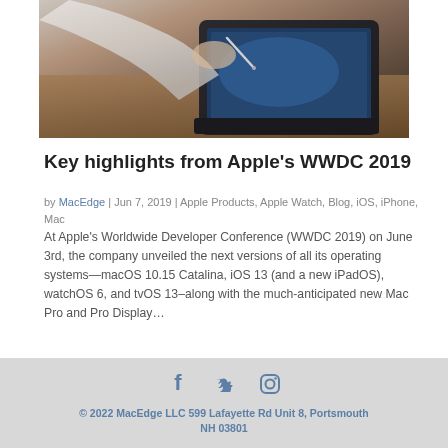[Figure (photo): Person using a stylus on a tablet/iPad with a keyboard, on a wooden desk, viewed from above and behind.]
Key highlights from Apple’s WWDC 2019
by MacEdge  |  Jun 7, 2019  |  Apple Products, Apple Watch, Blog, iOS, iPhone, Mac
At Apple’s Worldwide Developer Conference (WWDC 2019) on June 3rd, the company unveiled the next versions of all its operating systems—macOS 10.15 Catalina, iOS 13 (and a new iPadOS), watchOS 6, and tvOS 13–along with the much-anticipated new Mac Pro and Pro Display…
« Older Entries
© 2022 MacEdge LLC 599 Lafayette Rd Unit 8, Portsmouth NH 03801